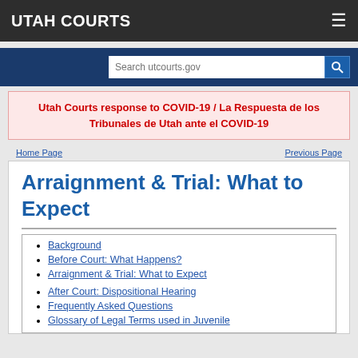UTAH COURTS
Search utcourts.gov
Utah Courts response to COVID-19 / La Respuesta de los Tribunales de Utah ante el COVID-19
Home Page   Previous Page
Arraignment & Trial: What to Expect
Background
Before Court: What Happens?
Arraignment & Trial: What to Expect
After Court: Dispositional Hearing
Frequently Asked Questions
Glossary of Legal Terms used in Juvenile